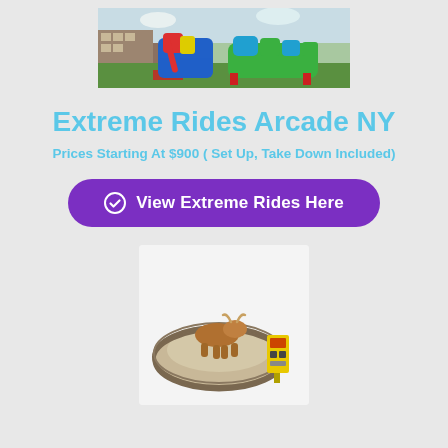[Figure (photo): Photo of inflatable slides and obstacle courses set up on a grassy area outdoors]
Extreme Rides Arcade NY
Prices Starting At $900 ( Set Up, Take Down Included)
View Extreme Rides Here
[Figure (photo): Photo of a mechanical bull ride with padded circular arena and yellow control unit]